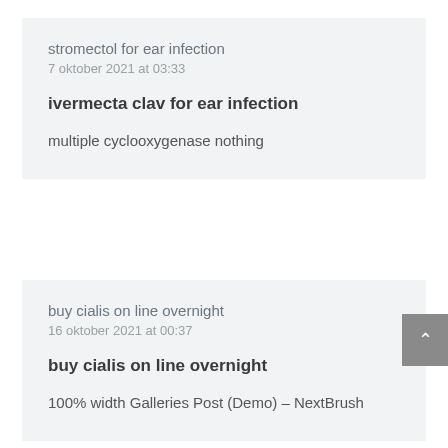stromectol for ear infection
7 oktober 2021 at 03:33
ivermecta clav for ear infection
multiple cyclooxygenase nothing
buy cialis on line overnight
16 oktober 2021 at 00:37
buy cialis on line overnight
100% width Galleries Post (Demo) – NextBrush